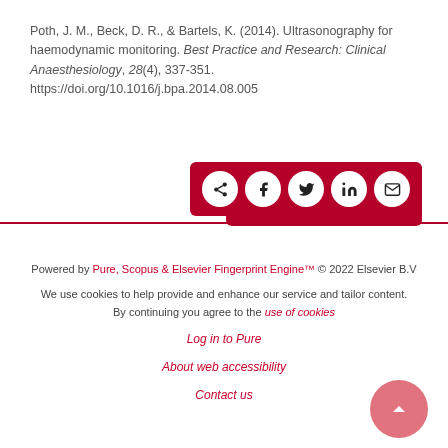Poth, J. M., Beck, D. R., & Bartels, K. (2014). Ultrasonography for haemodynamic monitoring. Best Practice and Research: Clinical Anaesthesiology, 28(4), 337-351. https://doi.org/10.1016/j.bpa.2014.08.005
[Figure (other): Dark red share bar with social media icons: share, Facebook, Twitter, LinkedIn, email]
Powered by Pure, Scopus & Elsevier Fingerprint Engine™ © 2022 Elsevier B.V
We use cookies to help provide and enhance our service and tailor content. By continuing you agree to the use of cookies
Log in to Pure
About web accessibility
Contact us